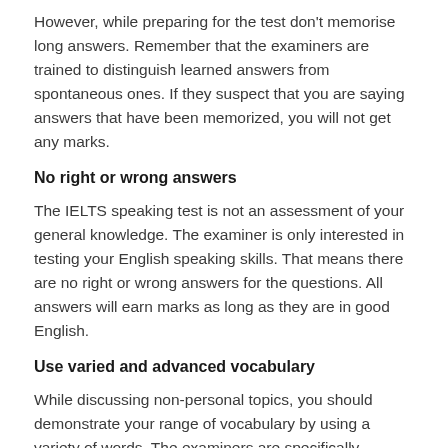However, while preparing for the test don't memorise long answers. Remember that the examiners are trained to distinguish learned answers from spontaneous ones. If they suspect that you are saying answers that have been memorized, you will not get any marks.
No right or wrong answers
The IELTS speaking test is not an assessment of your general knowledge. The examiner is only interested in testing your English speaking skills. That means there are no right or wrong answers for the questions. All answers will earn marks as long as they are in good English.
Use varied and advanced vocabulary
While discussing non-personal topics, you should demonstrate your range of vocabulary by using a variety of words. The examiners are specifically interested in